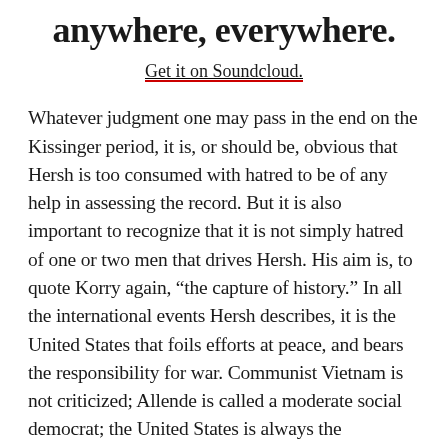anywhere, everywhere.
Get it on Soundcloud.
Whatever judgment one may pass in the end on the Kissinger period, it is, or should be, obvious that Hersh is too consumed with hatred to be of any help in assessing the record. But it is also important to recognize that it is not simply hatred of one or two men that drives Hersh. His aim is, to quote Korry again, “the capture of history.” In all the international events Hersh describes, it is the United States that foils efforts at peace, and bears the responsibility for war. Communist Vietnam is not criticized; Allende is called a moderate social democrat; the United States is always the